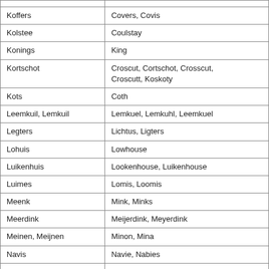| [Dutch name] | [English equivalent] |
| --- | --- |
| Koffers | Covers, Covis |
| Kolstee | Coulstay |
| Konings | King |
| Kortschot | Croscut, Cortschot, Crosscut, Croscutt, Koskoty |
| Kots | Coth |
| Leemkuil, Lemkuil | Lemkuel, Lemkuhl, Leemkuel |
| Legters | Lichtus, Ligters |
| Lohuis | Lowhouse |
| Luikenhuis | Lookenhouse, Luikenhouse |
| Luimes | Lomis, Loomis |
| Meenk | Mink, Minks |
| Meerdink | Meijerdink, Meyerdink |
| Meinen, Meijnen | Minon, Mina |
| Navis | Navie, Nabies |
| Nekkers | Neckers |
| Nieuwenhuis, Nijenhuis | Newhouse |
| Obelink, Oberink | Obrink, Obering, O'Brink |
| Pekaar, Pikaar | Pikaart |